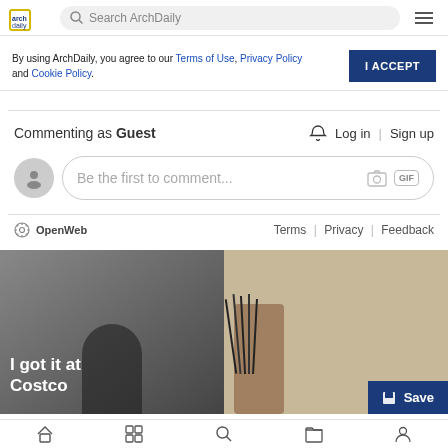ArchDaily | Search ArchDaily
By using ArchDaily, you agree to our Terms of Use, Privacy Policy and Cookie Policy.
I ACCEPT
Commenting as Guest
Log in | Sign up
Be the first to comment...
OpenWeb   Terms | Privacy | Feedback
[Figure (photo): Advertisement showing 'I got it at Costco' with a person wearing VR headset on left, and kitchen knives with vegetables on right, with a Save button overlay]
Bottom navigation bar icons